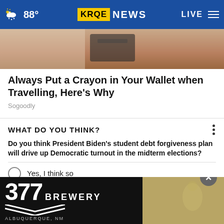KRQE NEWS | 88° | LIVE
[Figure (photo): Partial photo showing hands or objects, cropped at top of article]
Always Put a Crayon in Your Wallet when Travelling, Here's Why
Sogoodly
WHAT DO YOU THINK?
Do you think President Biden's student debt forgiveness plan will drive up Democratic turnout in the midterm elections?
Yes, I think so
Maybe, I'm not sure
No
Other / No opinion
[Figure (photo): 377 Brewery advertisement banner with logo and image]